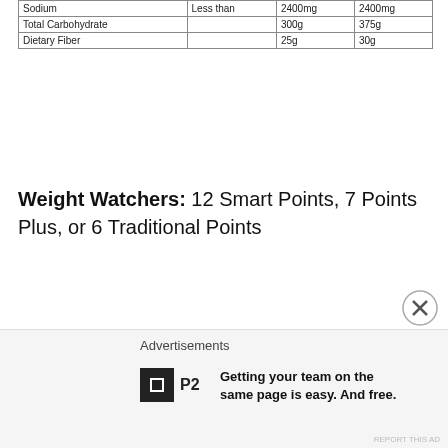|  |  |  |  |
| --- | --- | --- | --- |
| Sodium | Less than | 2400mg | 2400mg |
| Total Carbohydrate |  | 300g | 375g |
| Dietary Fiber |  | 25g | 30g |
Weight Watchers: 12 Smart Points, 7 Points Plus, or 6 Traditional Points
RECIPE ADAPTED FROM: KATHY KITCHENS DOWNIE PHOTOGRAPHY & STAGING:
Advertisements
Getting your team on the same page is easy. And free.